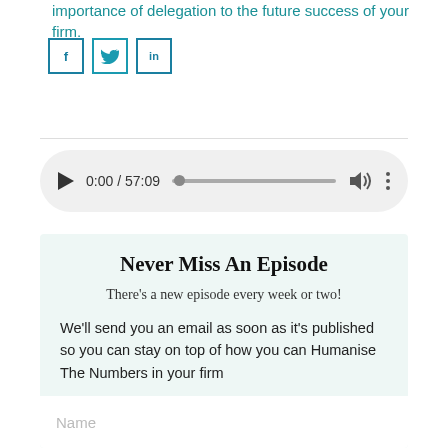importance of delegation to the future success of your firm.
[Figure (other): Social share icons: Facebook (f), Twitter (bird), LinkedIn (in) in teal bordered square buttons]
[Figure (other): Audio player showing 0:00 / 57:09 with play button, progress bar, volume icon, and more options icon]
Never Miss An Episode
There's a new episode every week or two!
We'll send you an email as soon as it's published so you can stay on top of how you can Humanise The Numbers in your firm
Name